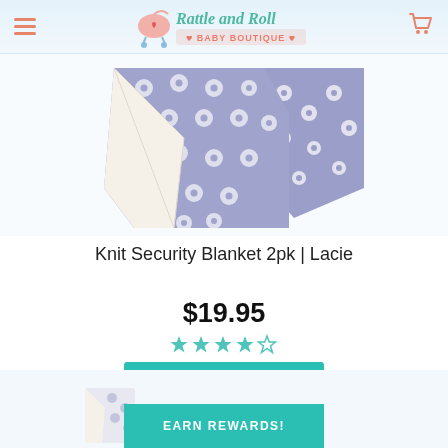Rattle and Roll Baby Boutique
[Figure (photo): Purple floral print knit security blanket folded showing white sherpa underside, displayed against white background]
Knit Security Blanket 2pk | Lacie
$19.95
[Figure (other): Star rating widget showing approximately 4 out of 5 stars in teal/cyan color]
ADD TO CART
EARN REWARDS!